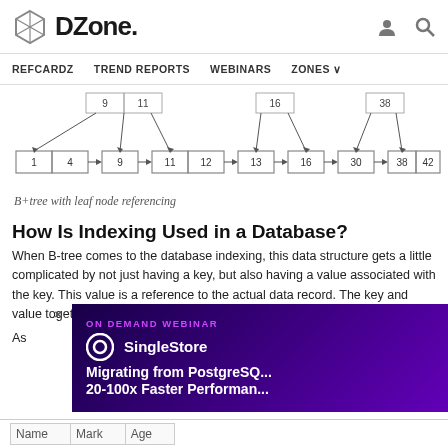DZone. REFCARDZ TREND REPORTS WEBINARS ZONES
[Figure (engineering-diagram): B+ tree diagram showing internal nodes with values 9, 11, 16, 38 pointing down to leaf nodes: 1, 4, 9, 11, 12, 13, 16, 30, 38, 42 linked in sequence with arrows]
B+tree with leaf node referencing
How Is Indexing Used in a Database?
When B-tree comes to the database indexing, this data structure gets a little complicated by not just having a key, but also having a value associated with the key. This value is a reference to the actual data record. The key and value together are called a payload.
As ... da...
[Figure (screenshot): SingleStore ON DEMAND WEBINAR advertisement: Migrating from PostgreSQL 20-100x Faster Performance]
| Name | Mark | Age |
| --- | --- | --- |